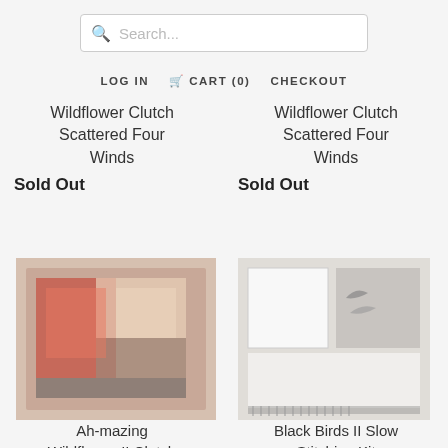Search...
LOG IN   CART (0)   CHECKOUT
Wildflower Clutch Scattered Four Winds
Sold Out
Wildflower Clutch Scattered Four Winds
Sold Out
[Figure (photo): Ah-mazing Wildflower II Clutch product photo showing a floral patchwork clutch bag with red and colorful design]
Ah-mazing Wildflower II Clutch Scattered Four
[Figure (photo): Black Birds II Slow Stitching Kit product photo showing a kit with geometric shapes and bird motif in grey and white tones]
Black Birds II Slow Stitching Kit Scattered Four